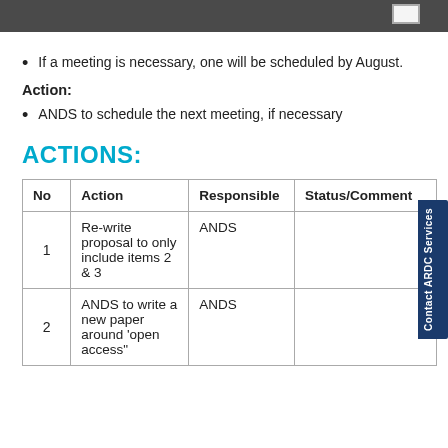If a meeting is necessary, one will be scheduled by August.
Action:
ANDS to schedule the next meeting, if necessary
ACTIONS:
| No | Action | Responsible | Status/Comment |
| --- | --- | --- | --- |
| 1 | Re-write proposal to only include items 2 & 3 | ANDS |  |
| 2 | ANDS to write a new paper around 'open access" | ANDS |  |